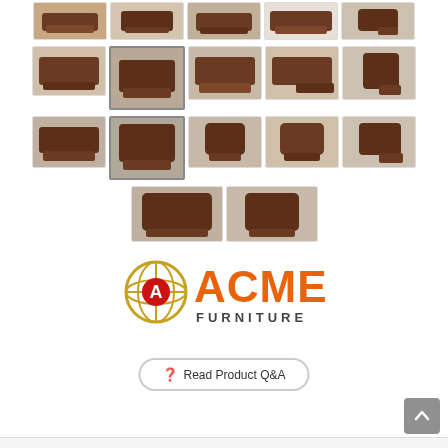[Figure (photo): Grid of product thumbnail images showing brown recliner furniture (sofa, loveseat, and chair) from various angles]
[Figure (logo): ACME Furniture logo with globe icon, orange ACME text and dark FURNITURE text]
Read Product Q&A